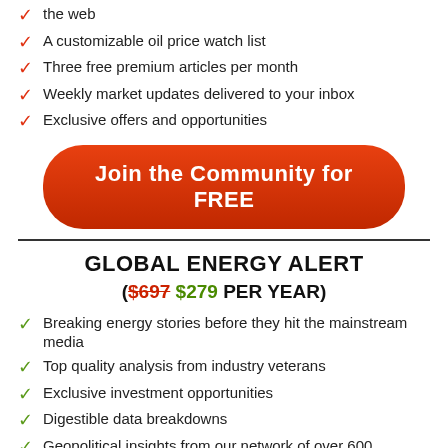the web
A customizable oil price watch list
Three free premium articles per month
Weekly market updates delivered to your inbox
Exclusive offers and opportunities
Join the Community for FREE
GLOBAL ENERGY ALERT
($697 $279 PER YEAR)
Breaking energy stories before they hit the mainstream media
Top quality analysis from industry veterans
Exclusive investment opportunities
Digestible data breakdowns
Geopolitical insights from our network of over 600 operatives
Richter M...